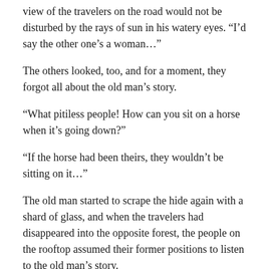view of the travelers on the road would not be disturbed by the rays of sun in his watery eyes. “I’d say the other one’s a woman…”
The others looked, too, and for a moment, they forgot all about the old man’s story.
“What pitiless people! How can you sit on a horse when it’s going down?”
“If the horse had been theirs, they wouldn’t be sitting on it…”
The old man started to scrape the hide again with a shard of glass, and when the travelers had disappeared into the opposite forest, the people on the rooftop assumed their former positions to listen to the old man’s story.